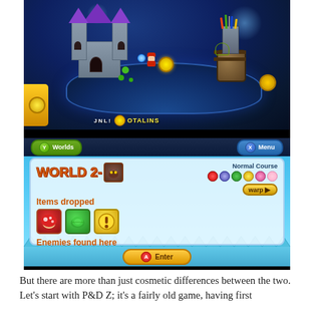[Figure (screenshot): Two Nintendo 3DS screens showing a Mario game. Top screen shows a 3D world map with a castle, Mario character, and star coin UI. Bottom screen shows World 2 info panel with 'Normal Course', items dropped (mushroom, shell, coin), enemies found here (Koopa Troopa, Boo, Bob-omb, yellow enemy), and navigation buttons (Y: Worlds, X: Menu, A: Enter, warp button).]
But there are more than just cosmetic differences between the two. Let's start with P&D Z; it's a fairly old game, having first